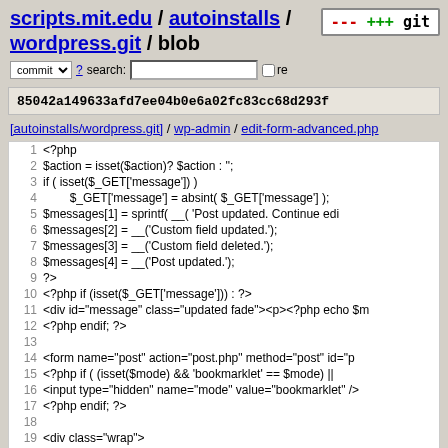scripts.mit.edu / autoinstalls / wordpress.git / blob
85042a149633afd7ee04b0e6a02fc83cc68d293f
[autoinstalls/wordpress.git] / wp-admin / edit-form-advanced.php
[Figure (screenshot): Code listing of edit-form-advanced.php showing PHP and HTML source code lines 1-21]